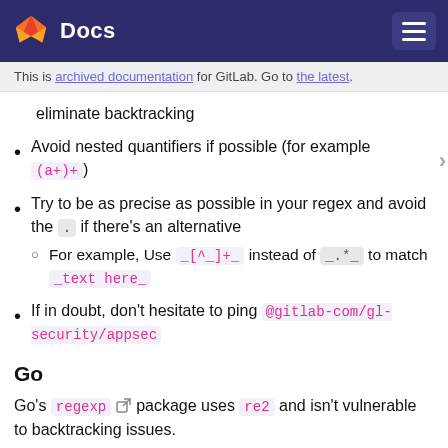Docs
This is archived documentation for GitLab. Go to the latest. eliminate backtracking
Avoid nested quantifiers if possible (for example (a+)+)
Try to be as precise as possible in your regex and avoid the . if there's an alternative
For example, Use _[^_]+_ instead of _.*_ to match _text here_
If in doubt, don't hesitate to ping @gitlab-com/gl-security/appsec
Go
Go's regexp package uses re2 and isn't vulnerable to backtracking issues.